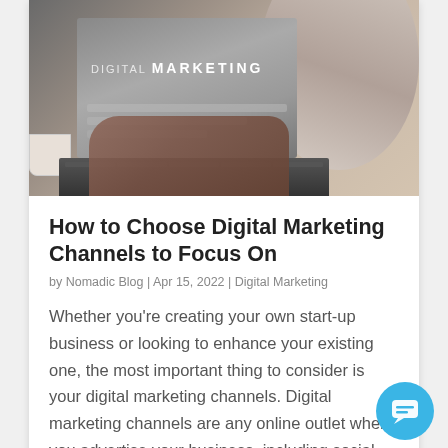[Figure (photo): Person sitting at a desk typing on a laptop. The laptop screen displays 'DIGITAL MARKETING' text. A coffee cup is visible on the left side.]
How to Choose Digital Marketing Channels to Focus On
by Nomadic Blog | Apr 15, 2022 | Digital Marketing
Whether you're creating your own start-up business or looking to enhance your existing one, the most important thing to consider is your digital marketing channels. Digital marketing channels are any online outlet where you advertise your business, including social...